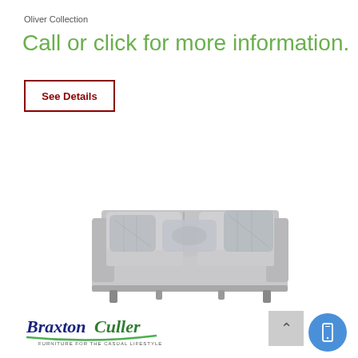Oliver Collection
Call or click for more information.
See Details
[Figure (photo): Gray upholstered sofa with decorative patterned throw pillows on a white background. Braxton Culler Oliver Collection furniture piece.]
[Figure (logo): Braxton Culler logo with text 'Furniture for the Casual Lifestyle' and a green swoosh underline.]